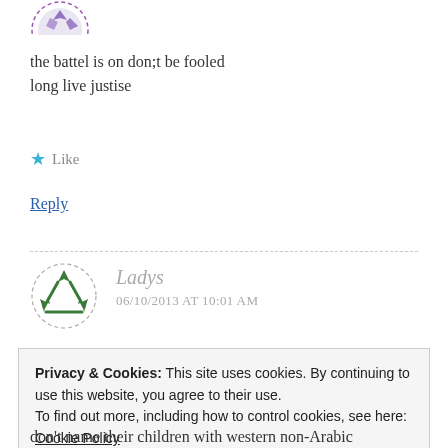[Figure (illustration): Partial view of a circular avatar with purple/blue decorative pattern at top of page]
the battel is on don;t be fooled
long live justise
★ Like
Reply
[Figure (illustration): Circular avatar with dashed border and green arrow/recycling symbol pattern]
Ladys
06/10/2013 AT 10:01 AM
Privacy & Cookies: This site uses cookies. By continuing to use this website, you agree to their use.
To find out more, including how to control cookies, see here: Cookie Policy
Close and accept
don't name their children with western non-Arabic